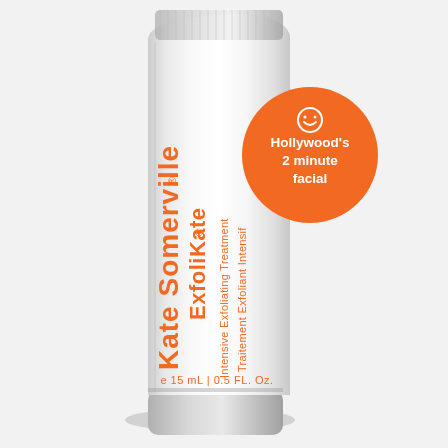[Figure (photo): A white squeezable tube of Kate Somerville ExfoliKate Intensive Exfoliating Treatment with orange text branding. The tube has an orange circular badge in the upper right area with a smiley face icon and the text 'Hollywood's 2 minute facial'. The brand name 'Kate Somerville' and product name 'ExfoliKate' are printed vertically in orange on the tube, along with 'Intensive Exfoliating Treatment' and 'Traitement Exfoliant Intensif' also in orange running vertically. At the bottom of the tube the text 'e 15 mL | 0.5 FL. Oz.' is printed in orange. The tube has a silver metallic cap at the bottom. Background is white/light grey.]